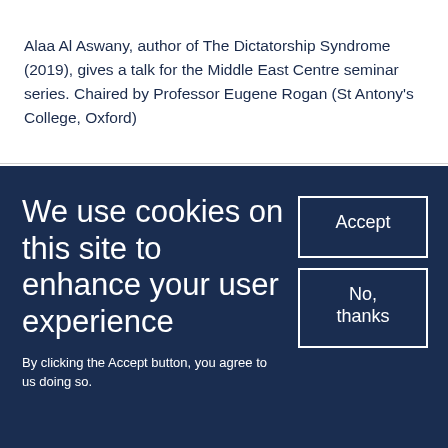Alaa Al Aswany, author of The Dictatorship Syndrome (2019), gives a talk for the Middle East Centre seminar series. Chaired by Professor Eugene Rogan (St Antony's College, Oxford)
Female Entrepreneurship in the Middle
We use cookies on this site to enhance your user experience
By clicking the Accept button, you agree to us doing so.